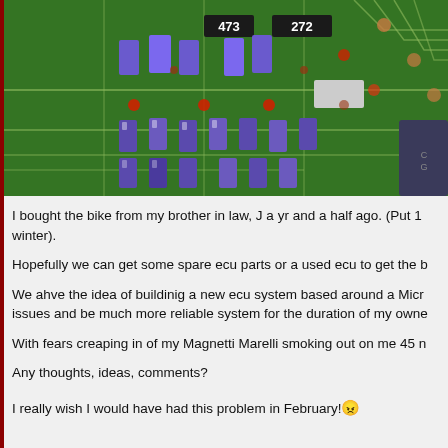[Figure (photo): Close-up photograph of a green PCB (printed circuit board) showing purple/blue capacitors, component labels '473' and '272', PCB traces, red vias, and various electronic components.]
I bought the bike from my brother in law, J a yr and a half ago. (Put 1 winter).
Hopefully we can get some spare ecu parts or a used ecu to get the b
We ahve the idea of buildinig a new ecu system based around a Micr issues and be much more reliable system for the duration of my owne
With fears creaping in of my Magnetti Marelli smoking out on me 45 n
Any thoughts, ideas, comments?
I really wish I would have had this problem in February! 😠